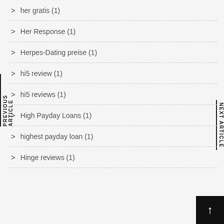her gratis (1)
Her Response (1)
Herpes-Dating preise (1)
hi5 review (1)
hi5 reviews (1)
High Payday Loans (1)
highest payday loan (1)
Hinge reviews (1)